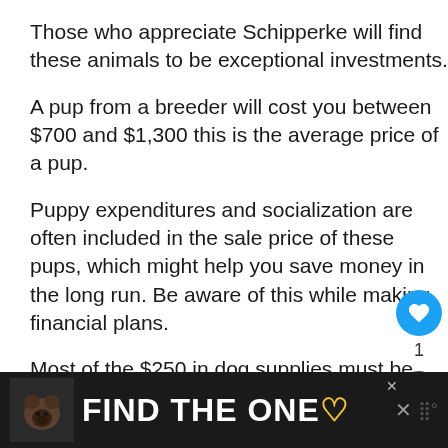Those who appreciate Schipperke will find these animals to be exceptional investments.
A pup from a breeder will cost you between $700 and $1,300 this is the average price of a pup.
Puppy expenditures and socialization are often included in the sale price of these pups, which might help you save money in the long run. Be aware of this while making financial plans.
Most of the $250 in dog supplies must be acquired before bringing your new pet h...
Most Schipperke owners will stick at the low end of the scale of the $75-$100 monthly expense ra...
[Figure (infographic): Ad banner at bottom: dark background with dog image and text FIND THE ONE with heart icon]